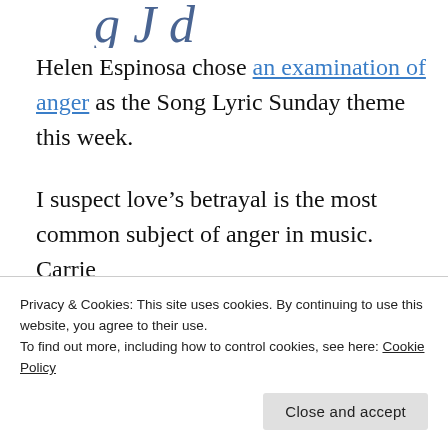[Figure (illustration): Decorative cursive/script text header, partially visible at top of page]
Helen Espinosa chose an examination of anger as the Song Lyric Sunday theme this week.
I suspect love’s betrayal is the most common subject of anger in music. Carrie Underwood’s Louisville Slugger...
Privacy & Cookies: This site uses cookies. By continuing to use this website, you agree to their use.
To find out more, including how to control cookies, see here: Cookie Policy
Close and accept